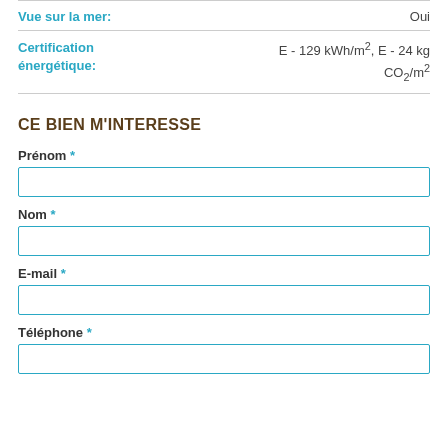| Champ | Valeur |
| --- | --- |
| Vue sur la mer: | Oui |
| Certification énergétique: | E - 129 kWh/m², E - 24 kg CO₂/m² |
CE BIEN M'INTERESSE
Prénom *
Nom *
E-mail *
Téléphone *